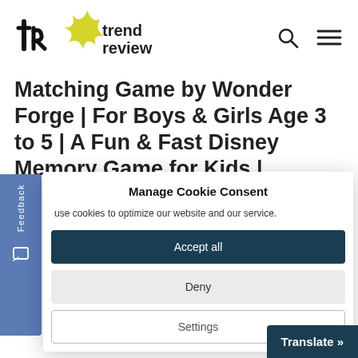trend review
Matching Game by Wonder Forge | For Boys & Girls Age 3 to 5 | A Fun & Fast Disney Memory Game for Kids |
[Figure (screenshot): Cookie consent dialog with Accept all, Deny, and Settings buttons, overlaying a website with Feedback tab on left side]
Manage Cookie Consent
use cookies to optimize our website and our service.
Accept all
Deny
Settings
Translate »